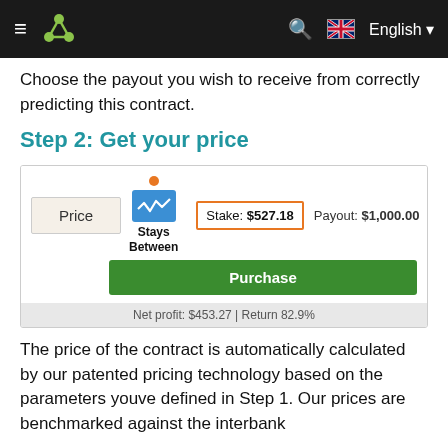Binary.com — English
Choose the payout you wish to receive from correctly predicting this contract.
Step 2: Get your price
[Figure (screenshot): A trading widget showing Price field, Stays Between contract type with wave icon, Stake: $527.18, Payout: $1,000.00, a green Purchase button, and Net profit: $453.27 | Return 82.9% at the bottom.]
The price of the contract is automatically calculated by our patented pricing technology based on the parameters youve defined in Step 1. Our prices are benchmarked against the interbank